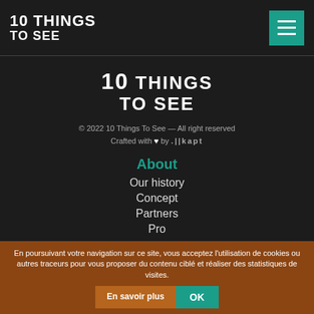10 THINGS TO SEE
[Figure (logo): 10 THINGS TO SEE logo centered, white bold text on dark background]
© 2022 10 Things To See — All right reserved
Crafted with ♥ by .||kapt
About
Our history
Concept
Partners
Pro
Legal notices
Legal notices
Credits
En poursuivant votre navigation sur ce site, vous acceptez l'utilisation de cookies ou autres traceurs pour vous proposer du contenu ciblé et réaliser des statistiques de visites.
En savoir plus
OK